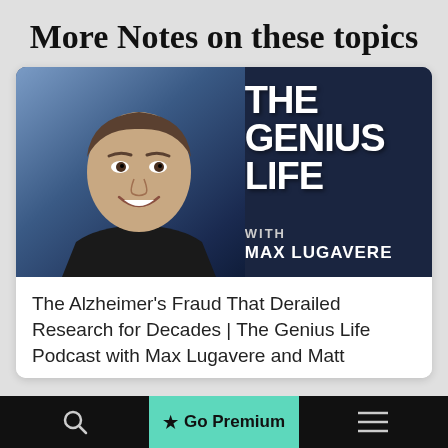More Notes on these topics
[Figure (photo): Podcast cover image for 'The Genius Life with Max Lugavere' showing a man in a black shirt on the left side and large white bold text reading 'THE GENIUS LIFE WITH MAX LUGAVERE' on a dark navy background on the right.]
The Alzheimer's Fraud That Derailed Research for Decades | The Genius Life Podcast with Max Lugavere and Matt
Go Premium